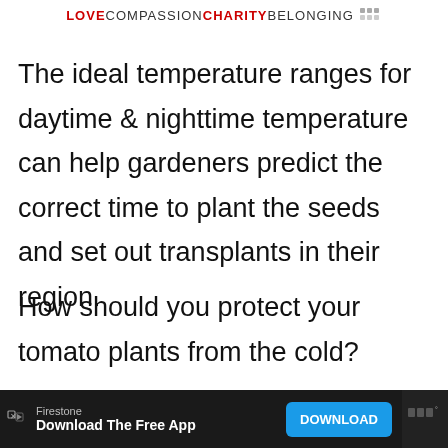LOVE COMPASSION CHARITY BELONGING
The ideal temperature ranges for daytime & nighttime temperature can help gardeners predict the correct time to plant the seeds and set out transplants in their region.
How should you protect your tomato plants from the cold?
Firestone Download The Free App DOWNLOAD